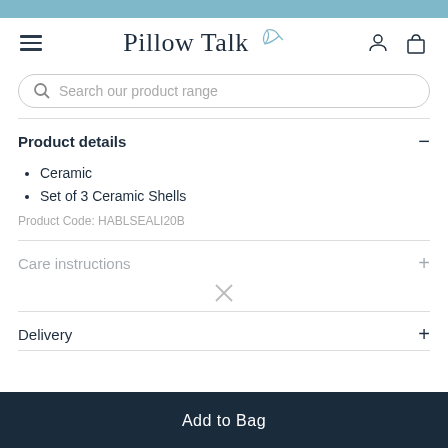Pillow Talk
Search our product range
Product details
Ceramic
Set of 3 Ceramic Shells
Product Code: HABLSEALI20B
Delivery